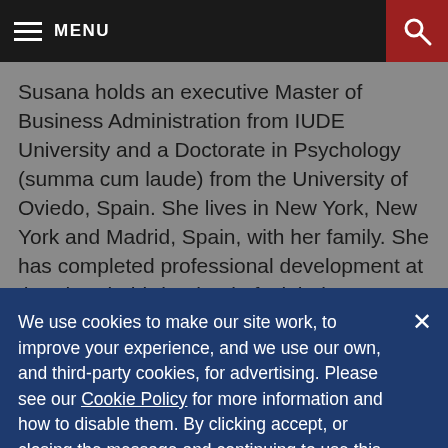MENU
Susana holds an executive Master of Business Administration from IUDE University and a Doctorate in Psychology (summa cum laude) from the University of Oviedo, Spain. She lives in New York, New York and Madrid, Spain, with her family. She has completed professional development at the Thunderbird School of Global Management, the University of Chicago School of Business Executive
We use cookies to make our site work, to improve your experience, and we use our own, and third-party cookies, for advertising. Please see our Cookie Policy for more information and how to disable them. By clicking accept, or closing the message and continuing to use this site, you agree to our use of cookies.
ACCEPT